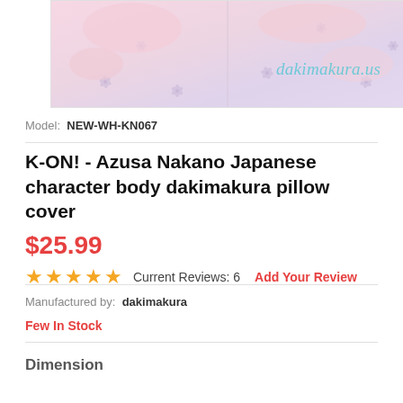[Figure (photo): Product image banner showing anime character illustration on pillow cover with purple floral decorations and dakimakura.us watermark]
Model:  NEW-WH-KN067
K-ON! - Azusa Nakano Japanese character body dakimakura pillow cover
$25.99
★★★★★  Current Reviews: 6   Add Your Review
Manufactured by:  dakimakura
Few In Stock
Dimension